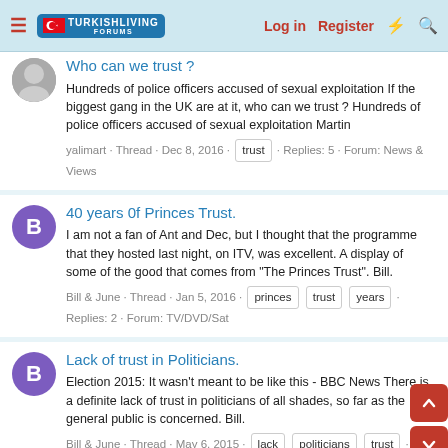TurkishLiving Forums — Log in | Register
Who can we trust ?
Hundreds of police officers accused of sexual exploitation If the biggest gang in the UK are at it, who can we trust ? Hundreds of police officers accused of sexual exploitation Martin
yalimart · Thread · Dec 8, 2016 · trust · Replies: 5 · Forum: News & Views
40 years 0f Princes Trust.
I am not a fan of Ant and Dec, but I thought that the programme that they hosted last night, on ITV, was excellent. A display of some of the good that comes from "The Princes Trust". Bill.
Bill & June · Thread · Jan 5, 2016 · princes · trust · years · Replies: 2 · Forum: TV/DVD/Sat
Lack of trust in Politicians.
Election 2015: It wasn't meant to be like this - BBC News There is a definite lack of trust in politicians of all shades, so far as the general public is concerned. Bill.
Bill & June · Thread · May 6, 2015 · lack · politicians · trust · Replies: 18 · Forum: News & Views